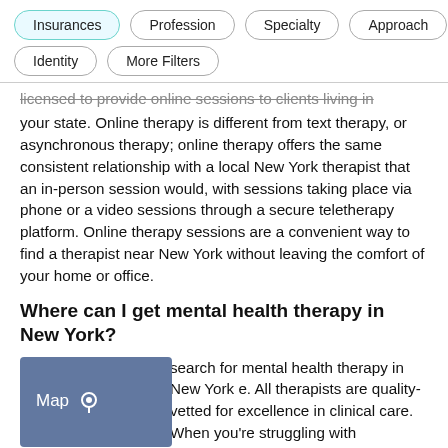Insurances
Profession
Specialty
Approach
Identity
More Filters
licensed to provide online sessions to clients living in your state. Online therapy is different from text therapy, or asynchronous therapy; online therapy offers the same consistent relationship with a local New York therapist that an in-person session would, with sessions taking place via phone or a video sessions through a secure teletherapy platform. Online therapy sessions are a convenient way to find a therapist near New York without leaving the comfort of your home or office.
Where can I get mental health therapy in New York?
search for mental health therapy in New York e. All therapists are quality-vetted for excellence in clinical care. When you're struggling with
[Figure (other): Map button with location pin icon and label 'Map']